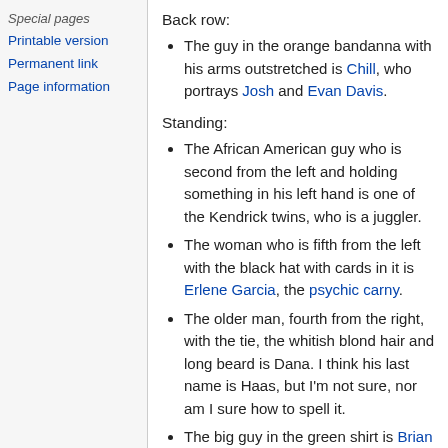Special pages
Printable version
Permanent link
Page information
Back row:
The guy in the orange bandanna with his arms outstretched is Chill, who portrays Josh and Evan Davis.
Standing:
The African American guy who is second from the left and holding something in his left hand is one of the Kendrick twins, who is a juggler.
The woman who is fifth from the left with the black hat with cards in it is Erlene Garcia, the psychic carny.
The older man, fourth from the right, with the tie, the whitish blond hair and long beard is Dana. I think his last name is Haas, but I'm not sure, nor am I sure how to spell it.
The big guy in the green shirt is Brian Estwick, who portrays Reginald